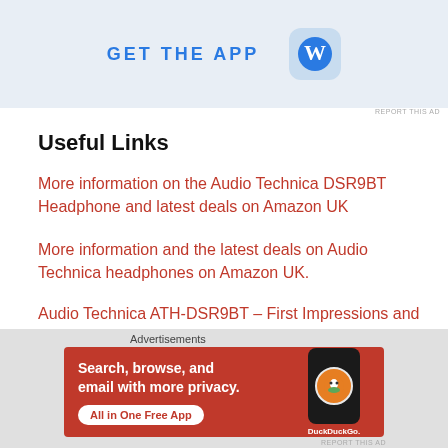[Figure (screenshot): Top advertisement banner with 'GET THE APP' text and WordPress logo on light blue background]
Useful Links
More information on the Audio Technica DSR9BT Headphone and latest deals on Amazon UK
More information and the latest deals on Audio Technica headphones on Amazon UK.
Audio Technica ATH-DSR9BT – First Impressions and Unboxing
Leave a comment
[Figure (screenshot): DuckDuckGo advertisement banner: orange/red background with text 'Search, browse, and email with more privacy. All in One Free App' and DuckDuckGo logo on phone]